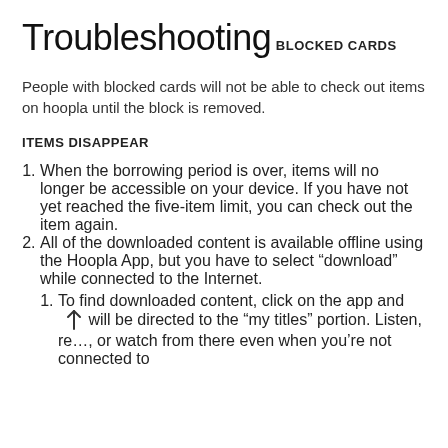Troubleshooting
BLOCKED CARDS
People with blocked cards will not be able to check out items on hoopla until the block is removed.
ITEMS DISAPPEAR
When the borrowing period is over, items will no longer be accessible on your device. If you have not yet reached the five-item limit, you can check out the item again.
All of the downloaded content is available offline using the Hoopla App, but you have to select “download” while connected to the Internet.
To find downloaded content, click on the app and will be directed to the “my titles” portion. Listen, re…, or watch from there even when you’re not connected to